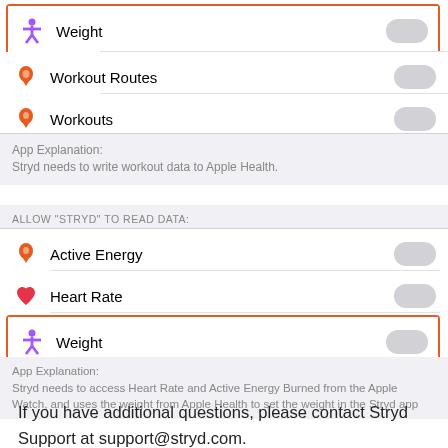[Figure (screenshot): iOS Health app permissions screen showing toggle rows for Weight (highlighted, off), Workout Routes (off), Workouts (off), with App Explanation section, then ALLOW STRYD TO READ DATA section with Active Energy, Heart Rate, Weight (highlighted, off) toggles, and another App Explanation section.]
If you have additional questions, please contact Stryd Support at support@stryd.com.